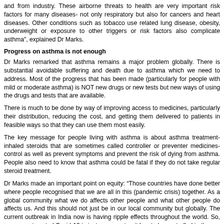and from industry. These airborne threats to health are very important risk factors for many diseases- not only respiratory but also for cancers and heart diseases. Other conditions such as tobacco use related lung disease, obesity, underweight or exposure to other triggers or risk factors also complicate asthma", explained Dr Marks.
Progress on asthma is not enough
Dr Marks remarked that asthma remains a major problem globally. There is substantial avoidable suffering and death due to asthma which we need to address. Most of the progress that has been made (particularly for people with mild or moderate asthma) is NOT new drugs or new tests but new ways of using the drugs and tests that are available.
There is much to be done by way of improving access to medicines, particularly their distribution, reducing the cost, and getting them delivered to patients in feasible ways so that they can use them most easily.
The key message for people living with asthma is about asthma treatment- inhaled steroids that are sometimes called controller or preventer medicines- control as well as prevent symptoms and prevent the risk of dying from asthma. People also need to know that asthma could be fatal if they do not take regular steroid treatment.
Dr Marks made an important point on equity: “Those countries have done better where people recognised that we are all in this (pandemic crisis) together. As a global community what we do affects other people and what other people do affects us. And this should not just be in our local community but globally. The current outbreak in India now is having ripple effects throughout the world. So, you cannot control Covid-19 in just one country- it has to be controlled in the